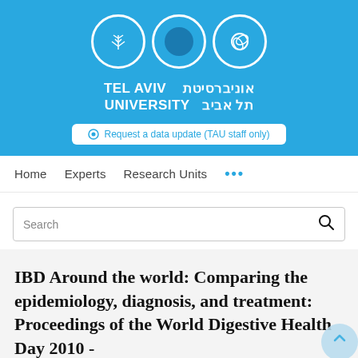[Figure (logo): Tel Aviv University logo with three white circular icons and bilingual university name in white on light blue background]
Request a data update (TAU staff only)
Home   Experts   Research Units   ...
Search
IBD Around the world: Comparing the epidemiology, diagnosis, and treatment: Proceedings of the World Digestive Health Day 2010 -